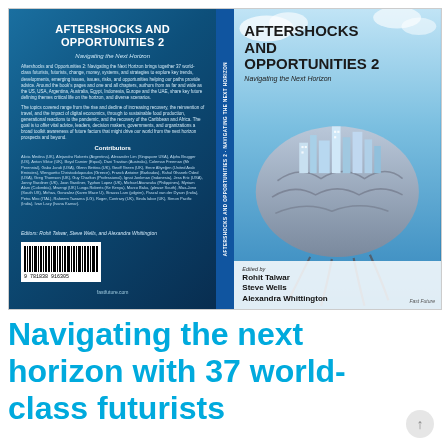[Figure (photo): Book cover image for 'Aftershocks and Opportunities 2: Navigating the Next Horizon', edited by Rohit Talwar, Steve Wells, and Alexandra Whittington. Shows both the front and back cover. The front cover features a futuristic brain-city illustration on a blue sky background. The back cover is dark blue with the book title, description text, contributor names, barcode, and website fastfuture.com.]
Navigating the next horizon with 37 world-class futurists